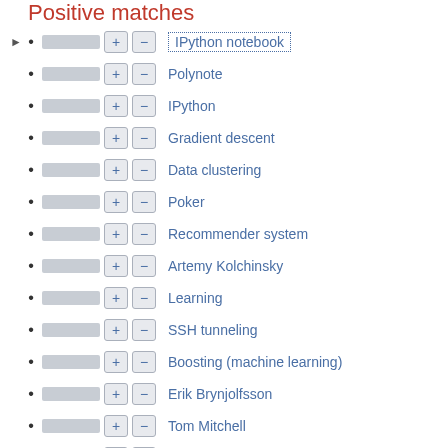Positive matches
IPython notebook
Polynote
IPython
Gradient descent
Data clustering
Poker
Recommender system
Artemy Kolchinsky
Learning
SSH tunneling
Boosting (machine learning)
Erik Brynjolfsson
Tom Mitchell
Artificial intelligence